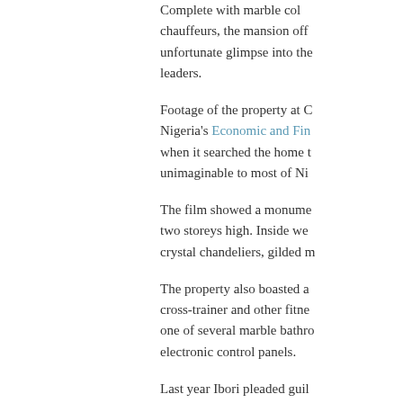Complete with marble col... chauffeurs, the mansion off... unfortunate glimpse into the... leaders.
Footage of the property at C... Nigeria's Economic and Fin... when it searched the home t... unimaginable to most of Ni...
The film showed a monume... two storeys high. Inside we... crystal chandeliers, gilded m...
The property also boasted a... cross-trainer and other fitne... one of several marble bathro... electronic control panels.
Last year Ibori pleaded guil...